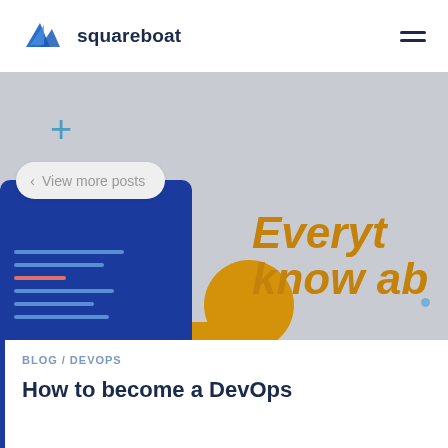[Figure (logo): Squareboat logo: blue angular sail/wave icon and the word 'squareboat' in dark navy text]
[Figure (illustration): Hero banner: gray background with a blue monitor/document illustration showing text lines, orange base, orange circle, and gold italic text 'Everyt... know ab...' partially cropped. A 'View more posts' pill button overlays the top left.]
BLOG / DEVOPS
How to become a DevOps